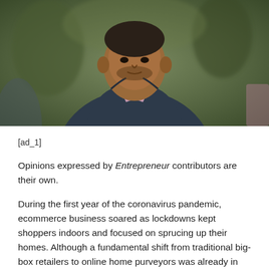[Figure (photo): Photograph of a man wearing a dark navy ribbed zip-up sweater over a pink collared shirt, outdoors with blurred green background]
[ad_1]
Opinions expressed by Entrepreneur contributors are their own.
During the first year of the coronavirus pandemic, ecommerce business soared as lockdowns kept shoppers indoors and focused on sprucing up their homes. Although a fundamental shift from traditional big-box retailers to online home purveyors was already in progress, the pandemic sped up the transition at lightning speed. For my latest Leadership